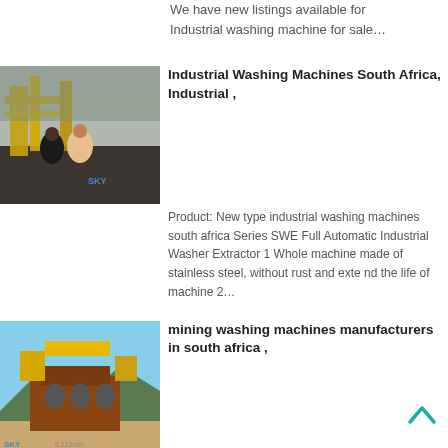We have new listings available for Industrial washing machine for sale…
[Figure (photo): Two men standing in front of yellow industrial machinery at a mining site, with SKY watermark]
Industrial Washing Machines South Africa, Industrial ,
Product: New type industrial washing machines south africa Series SWE Full Automatic Industrial Washer Extractor 1 Whole machine made of stainless steel, without rust and exte nd the life of machine 2…
[Figure (photo): Yellow and red mining washing machine equipment outdoors with SKY watermark]
mining washing machines manufacturers in south africa ,
Favorit Washing Machine, Wholesale Various High Quality Favorit Washing Machine industrial parts washing machine, favorite washing machine, industrial washing machines south africa